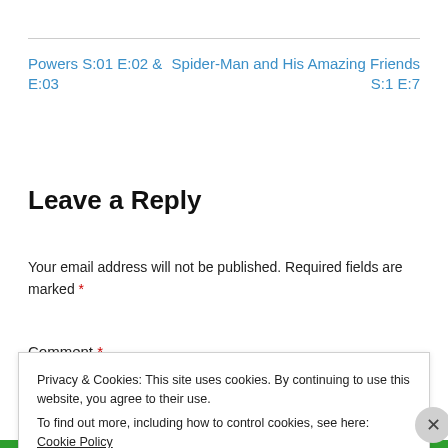Powers S:01 E:02 & E:03
Spider-Man and His Amazing Friends S:1 E:7
Leave a Reply
Your email address will not be published. Required fields are marked *
Comment *
Privacy & Cookies: This site uses cookies. By continuing to use this website, you agree to their use.
To find out more, including how to control cookies, see here: Cookie Policy
Close and accept